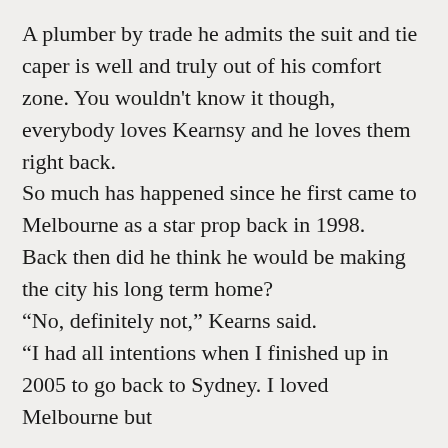A plumber by trade he admits the suit and tie caper is well and truly out of his comfort zone. You wouldn't know it though, everybody loves Kearnsy and he loves them right back.
So much has happened since he first came to Melbourne as a star prop back in 1998.
Back then did he think he would be making the city his long term home?
“No, definitely not,” Kearns said.
“I had all intentions when I finished up in 2005 to go back to Sydney. I loved Melbourne but